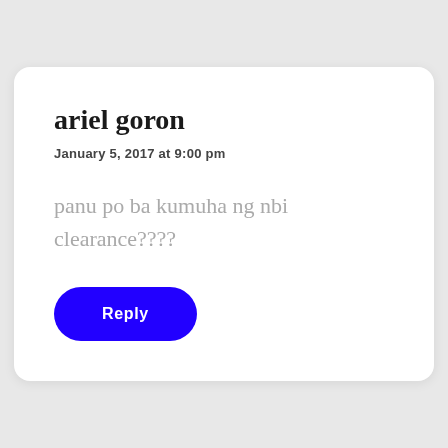ariel goron
January 5, 2017 at 9:00 pm
panu po ba kumuha ng nbi clearance????
Reply